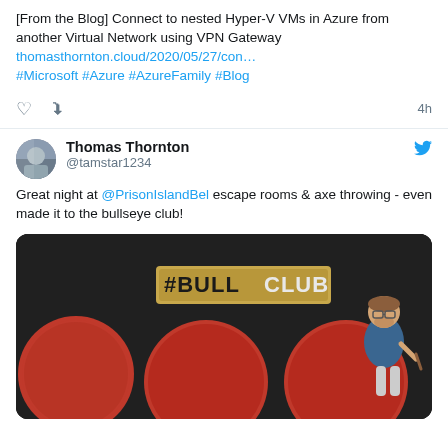[From the Blog] Connect to nested Hyper-V VMs in Azure from another Virtual Network using VPN Gateway thomasthornton.cloud/2020/05/27/con… #Microsoft #Azure #AzureFamily #Blog
Thomas Thornton @tamstar1234 Great night at @PrisonIslandBel escape rooms & axe throwing - even made it to the bullseye club!
[Figure (photo): Photo showing a dark wall with a wooden #BULLCLUB sign above three large red circles/targets, with a man standing to the right holding an axe]